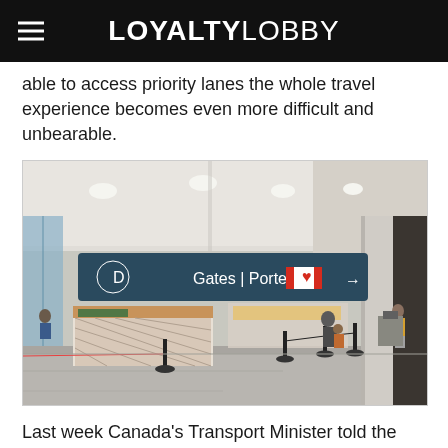LOYALTYLOBBY
able to access priority lanes the whole travel experience becomes even more difficult and unbearable.
[Figure (photo): Interior of an airport terminal showing a overhead directional sign reading 'D Gates | Portes' with a Canadian flag icon and an arrow pointing right. The terminal floor is mostly empty with some passengers walking in the background and closed retail stalls visible.]
Last week Canada's Transport Minister told the media that